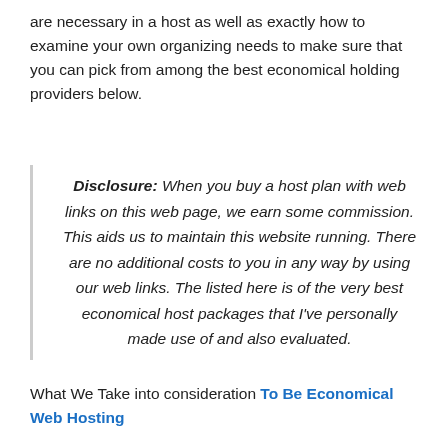are necessary in a host as well as exactly how to examine your own organizing needs to make sure that you can pick from among the best economical holding providers below.
Disclosure: When you buy a host plan with web links on this web page, we earn some commission. This aids us to maintain this website running. There are no additional costs to you in any way by using our web links. The listed here is of the very best economical host packages that I've personally made use of and also evaluated.
What We Take into consideration To Be Economical Web Hosting